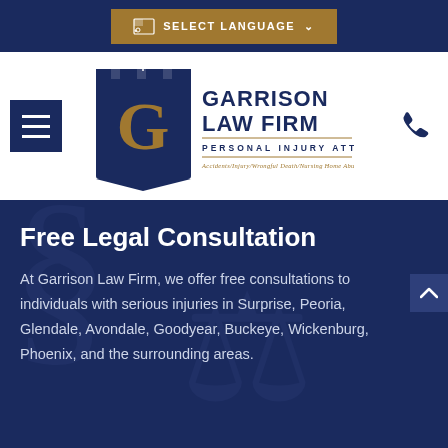[Figure (screenshot): Select Language button with gold background in dark navy top bar]
[Figure (logo): Garrison Law Firm logo with castle shield, gold G letter, navy text reading GARRISON LAW FIRM PERSONAL INJURY ATTORNEYS, Accidents/Injury/Wrongful Death/Nursing Home Abuse]
Free Legal Consultation
At Garrison Law Firm, we offer free consultations to individuals with serious injuries in Surprise, Peoria, Glendale, Avondale, Goodyear, Buckeye, Wickenburg, Phoenix, and the surrounding areas.